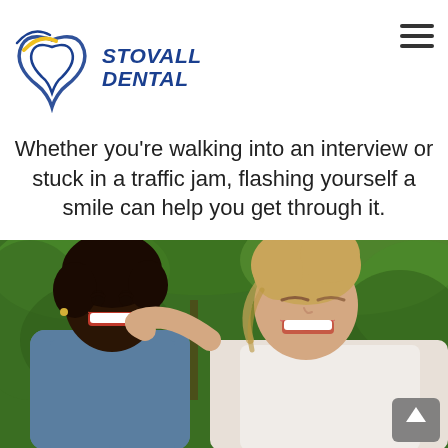Stovall Dental
Whether you're walking into an interview or stuck in a traffic jam, flashing yourself a smile can help you get through it.
[Figure (photo): Two women laughing and smiling together outdoors with green foliage in background. One woman has dark skin and short hair wearing a denim jacket; the other has lighter skin and blonde hair wearing a white top, leaning on the first woman's shoulder.]